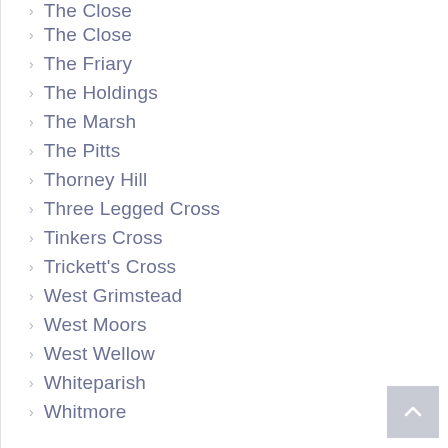The Close
The Close
The Friary
The Holdings
The Marsh
The Pitts
Thorney Hill
Three Legged Cross
Tinkers Cross
Trickett's Cross
West Grimstead
West Moors
West Wellow
Whiteparish
Whitmore